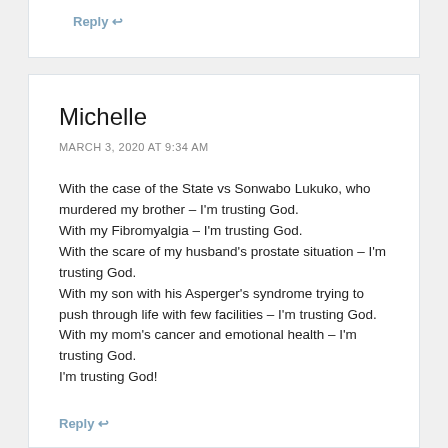Reply ↩
Michelle
MARCH 3, 2020 AT 9:34 AM
With the case of the State vs Sonwabo Lukuko, who murdered my brother – I'm trusting God.
With my Fibromyalgia – I'm trusting God.
With the scare of my husband's prostate situation – I'm trusting God.
With my son with his Asperger's syndrome trying to push through life with few facilities – I'm trusting God.
With my mom's cancer and emotional health – I'm trusting God.
I'm trusting God!
Reply ↩